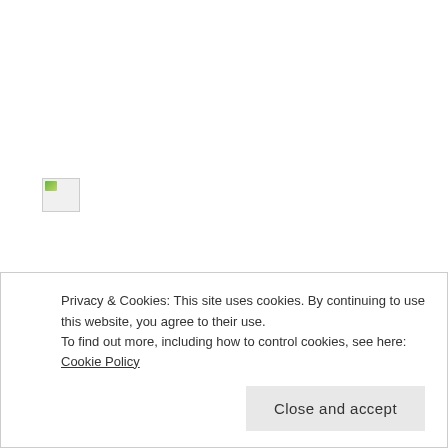[Figure (other): Broken/missing image placeholder icon with small green triangle in top-left corner]
Personally, my favourite are the milk chocolate varieties with the quinoa and the lemon coconut. I normally like dark chocolate best, but these milk chocolates aren't as sweet as the conventional ones. Therefore, I like the milk
Privacy & Cookies: This site uses cookies. By continuing to use this website, you agree to their use.
To find out more, including how to control cookies, see here: Cookie Policy
Close and accept